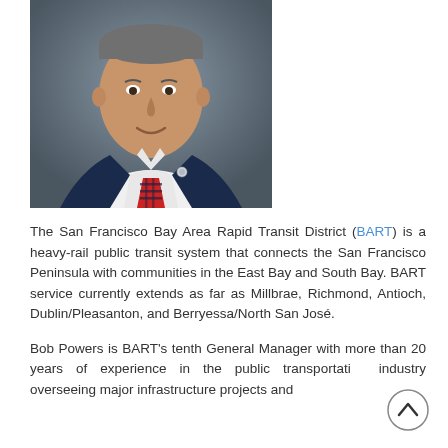[Figure (photo): Professional headshot of a man in a dark navy suit with a plaid tie, white shirt, and a small lapel pin, photographed against a dark gray background.]
The San Francisco Bay Area Rapid Transit District (BART) is a heavy-rail public transit system that connects the San Francisco Peninsula with communities in the East Bay and South Bay. BART service currently extends as far as Millbrae, Richmond, Antioch, Dublin/Pleasanton, and Berryessa/North San José.
Bob Powers is BART's tenth General Manager with more than 20 years of experience in the public transportation industry overseeing major infrastructure projects and